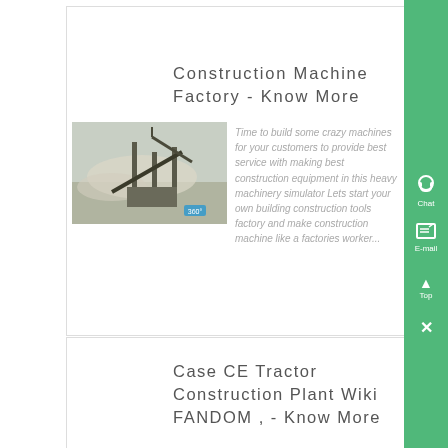Construction Machine Factory - Know More
[Figure (photo): Industrial construction machine or quarry plant with dust and machinery structure visible.]
Time to build some crazy machines for your customers to provide best service with making best construction equipment in this heavy machinery simulator Lets start your own building construction tools factory and make construction machine like a factories worker...
Case CE Tractor Construction Plant Wiki FANDOM , - Know More